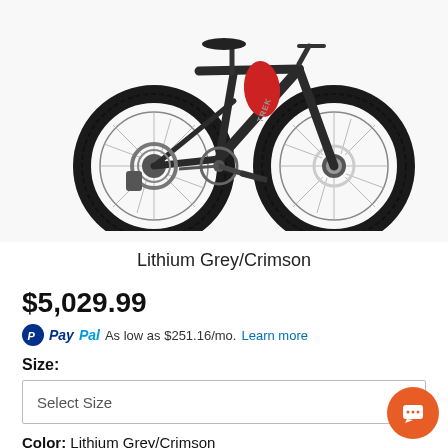[Figure (photo): Mountain bike in Lithium Grey/Crimson colorway, side view showing full suspension, large knobby tires, disc brakes, and rear derailleur]
Lithium Grey/Crimson
$5,029.99
PayPal As low as $251.16/mo. Learn more
Size:
Select Size
Color: Lithium Grey/Crimson